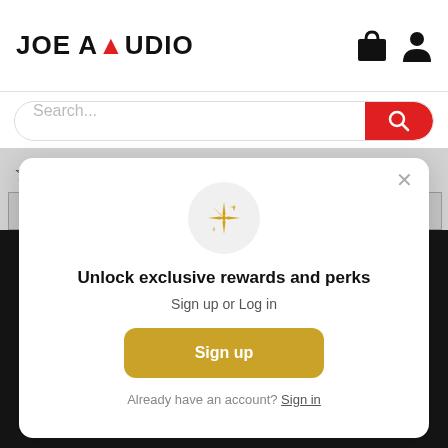JOE AUDIO
Search...
☆☆☆☆☆ Be the first to write a review
Write a review
[Figure (screenshot): Modal popup with sparkle icon]
Unlock exclusive rewards and perks
Sign up or Log in
Sign up
Already have an account? Sign in